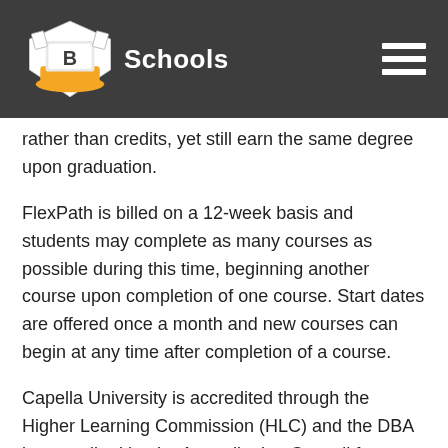B Schools
rather than credits, yet still earn the same degree upon graduation.
FlexPath is billed on a 12-week basis and students may complete as many courses as possible during this time, beginning another course upon completion of one course. Start dates are offered once a month and new courses can begin at any time after completion of a course.
Capella University is accredited through the Higher Learning Commission (HLC) and the DBA is accredited by the Accreditation Council for Business Schools and Programs (ACBSP). Capella University is an online-only